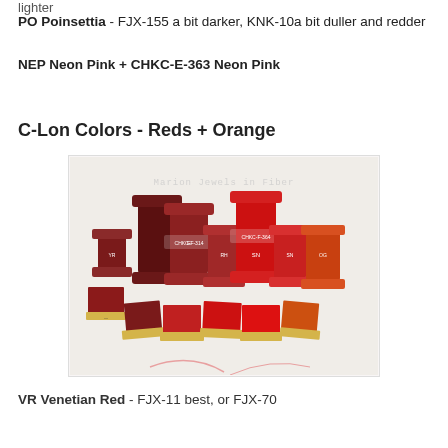lighter
PO Poinsettia - FJX-155 a bit darker, KNK-10a bit duller and redder
NEP Neon Pink + CHKC-E-363 Neon Pink
C-Lon Colors - Reds + Orange
[Figure (photo): Photo of multiple spools and flat cards of C-Lon thread in red, dark red, and orange colors arranged on a white background. Watermark reads 'Marion Jewels in Fiber'. Some spools have labels visible including CHKC-F-314 and CHKC-F-364.]
VR Venetian Red - FJX-11 best, or FJX-70